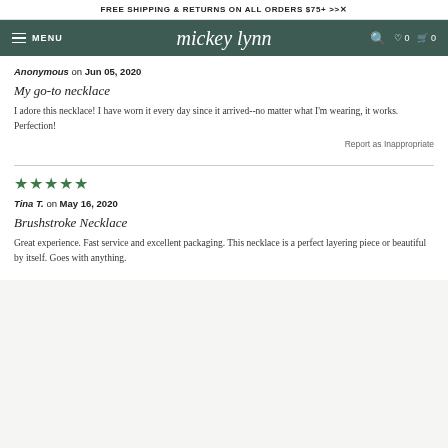FREE SHIPPING & RETURNS ON ALL ORDERS $75+ >>
mickey lynn MENU
Anonymous on Jun 05, 2020
My go-to necklace
I adore this necklace! I have worn it every day since it arrived--no matter what I'm wearing, it works. Perfection!
Report as Inappropriate
★★★★★
Tina T. on May 16, 2020
Brushstroke Necklace
Great experience. Fast service and excellent packaging. This necklace is a perfect layering piece or beautiful by itself. Goes with anything.